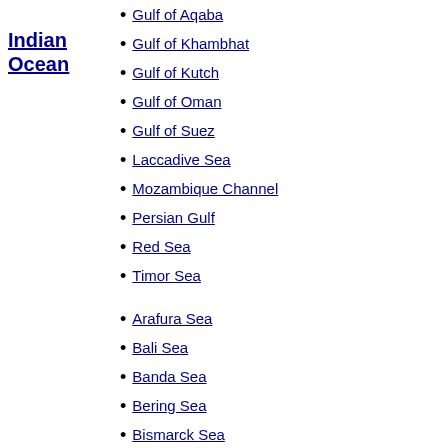Indian Ocean
Gulf of Aqaba
Gulf of Khambhat
Gulf of Kutch
Gulf of Oman
Gulf of Suez
Laccadive Sea
Mozambique Channel
Persian Gulf
Red Sea
Timor Sea
Arafura Sea
Bali Sea
Banda Sea
Bering Sea
Bismarck Sea
Bohai Sea
Bohol Sea
Camotes Sea
Celebes Sea
Chilean Sea
Coral Sea
East China Sea
Gulf of Alaska
Gulf of Anadyr
Gulf of California